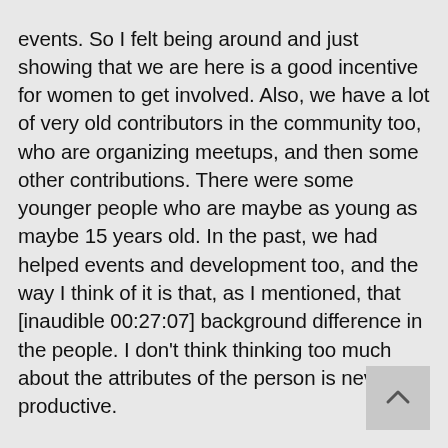events. So I felt being around and just showing that we are here is a good incentive for women to get involved. Also, we have a lot of very old contributors in the community too, who are organizing meetups, and then some other contributions. There were some younger people who are maybe as young as maybe 15 years old. In the past, we had helped events and development too, and the way I think of it is that, as I mentioned, that [inaudible 00:27:07] background difference in the people. I don't think thinking too much about the attributes of the person is never productive.